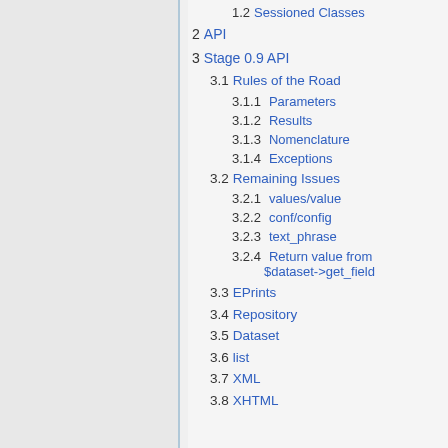1.2  Sessioned Classes
2  API
3  Stage 0.9 API
3.1  Rules of the Road
3.1.1  Parameters
3.1.2  Results
3.1.3  Nomenclature
3.1.4  Exceptions
3.2  Remaining Issues
3.2.1  values/value
3.2.2  conf/config
3.2.3  text_phrase
3.2.4  Return value from $dataset->get_field
3.3  EPrints
3.4  Repository
3.5  Dataset
3.6  list
3.7  XML
3.8  XHTML